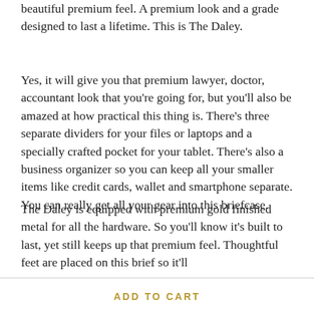beautiful premium feel. A premium look and a grade designed to last a lifetime. This is The Daley.
Yes, it will give you that premium lawyer, doctor, accountant look that you're going for, but you'll also be amazed at how practical this thing is. There's three separate dividers for your files or laptops and a specially crafted pocket for your tablet. There's also a business organizer so you can keep all your smaller items like credit cards, wallet and smartphone separate. You can really get all your gear into this briefcase.
The Daley is equipped with premium gold finished metal for all the hardware. So you'll know it's built to last, yet still keeps up that premium feel. Thoughtful feet are placed on this brief so it'll
ADD TO CART